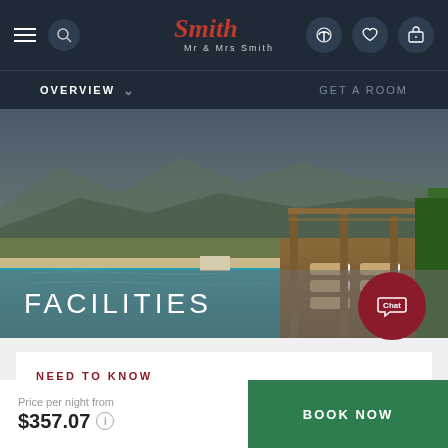Mr & Mrs Smith — Navigation bar with hamburger menu, search, logo, phone, heart, and luggage icons
OVERVIEW   GET A ROOM
[Figure (photo): Outdoor infinity pool with wooden decking and sun loungers, green hedge wall, mountain landscape in background]
FACILITIES
NEED TO KNOW
ROOMS
Seven, including three suites.
CHECK-OUT
Price per night from $357.07
BOOK NOW